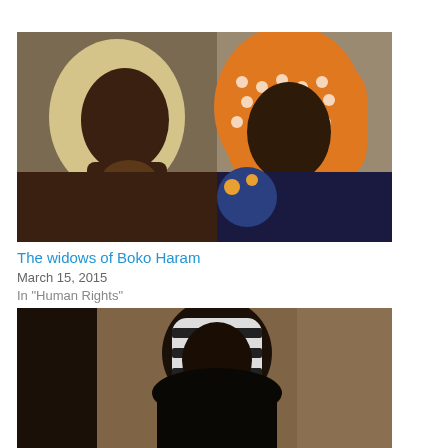[Figure (photo): Two women wearing headscarves sitting indoors against a rough wall. The woman on the left wears a pale yellow/cream hijab and rests her chin on her hand. The woman on the right wears a bright orange and white patterned headscarf and a dark blue floral garment.]
The widows of Boko Haram
March 15, 2015
In "Human Rights"
[Figure (photo): A person wearing a black and white striped or checkered headscarf and dark clothing, photographed against a dark brown/tan background. Only the upper body is visible.]